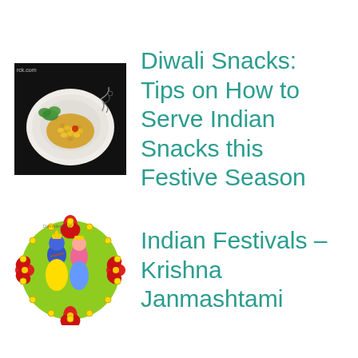[Figure (photo): A plate of Indian snack (poha/corn mixture) garnished with green herbs and a small red garnish, on a white plate with floral design, dark background. Watermark: rck.com]
Diwali Snacks: Tips on How to Serve Indian Snacks this Festive Season
[Figure (illustration): Circular illustration of Radha and Krishna figures surrounded by colorful flowers (red hibiscus, yellow marigolds) on a bright green background. Watermark: Dlarmskimk.com]
Indian Festivals – Krishna Janmashtami